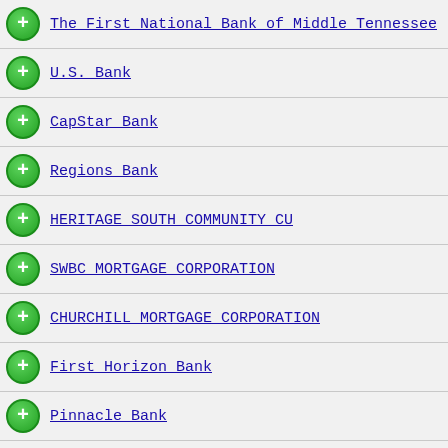The First National Bank of Middle Tennessee
U.S. Bank
CapStar Bank
Regions Bank
HERITAGE SOUTH COMMUNITY CU
SWBC MORTGAGE CORPORATION
CHURCHILL MORTGAGE CORPORATION
First Horizon Bank
Pinnacle Bank